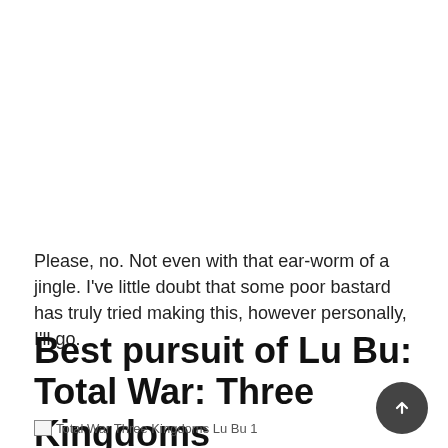Please, no. Not even with that ear-worm of a jingle. I've little doubt that some poor bastard has truly tried making this, however personally, I'll go.
Best pursuit of Lu Bu: Total War: Three Kingdoms
[Figure (photo): Total War Three Kingdoms Lu Bu 1 — broken/loading image placeholder]